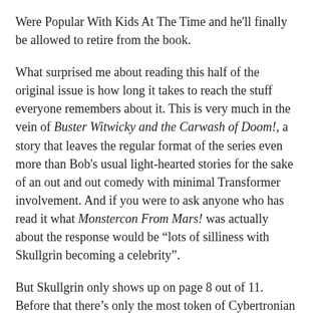Were Popular With Kids At The Time and he'll finally be allowed to retire from the book.
What surprised me about reading this half of the original issue is how long it takes to reach the stuff everyone remembers about it. This is very much in the vein of Buster Witwicky and the Carwash of Doom!, a story that leaves the regular format of the series even more than Bob's usual light-hearted stories for the sake of an out and out comedy with minimal Transformer involvement. And if you were to ask anyone who has read it what Monstercon From Mars! was actually about the response would be “lots of silliness with Skullgrin becoming a celebrity”.
But Skullgrin only shows up on page 8 out of 11. Before that there’s only the most token of Cybertronian presence as Sky Lynx returns the three human children to Earth, gets a hostile reception from a mob (understandably, these kids have been kidnapped for